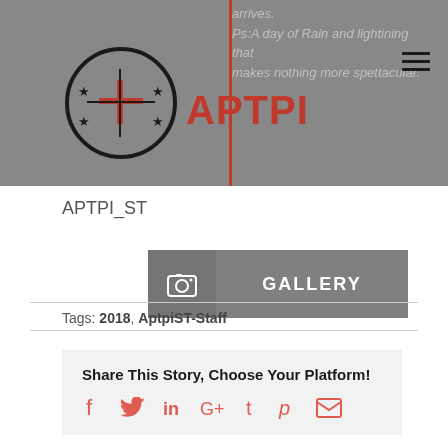APTPI — website header with logo, italic text: 'arrives. Ps:A day of Rain and lightining that makes nothing more spettacular.'
APTPI_ST
[Figure (other): GALLERY button with camera icon on grey background]
Tags: 2018, AptpiST-Staff
Share This Story, Choose Your Platform!
[Figure (other): Social share icons: Facebook, Twitter, LinkedIn, Google+, Tumblr, Pinterest, Email]